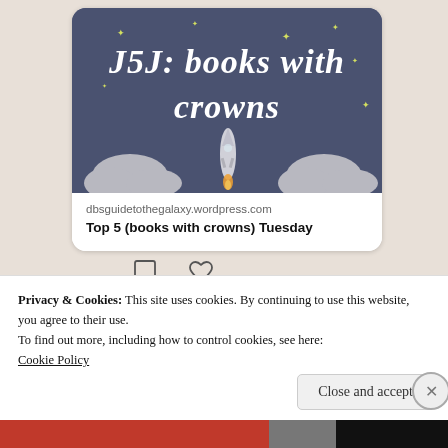[Figure (screenshot): Social media embedded card showing 'J5J: books with crowns' blog post image. Dark blue/purple background with illustrated clouds, rocket ship, and gold stars. Text in cursive white font reads 'J5J: books with crowns'. Below the image: URL 'dbsguidetothegalaxy.wordpress.com' and title 'Top 5 (books with crowns) Tuesday'. Comment and like icons below the card.]
[Figure (screenshot): Twitter/social media partial post showing user 'DB' with purple heart emoji, handle @guidetotogalaxy13, posted 11h ago, with blue Twitter bird icon. User avatar visible on left.]
Privacy & Cookies: This site uses cookies. By continuing to use this website, you agree to their use.
To find out more, including how to control cookies, see here:
Cookie Policy
Close and accept